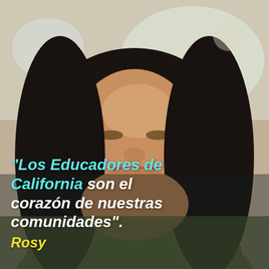[Figure (photo): A smiling woman with long dark hair, wearing a green top, photographed in a bright indoor setting. The photo fills the entire page background.]
“Los Educadores de California son el corazón de nuestras comunidades”.
Rosy